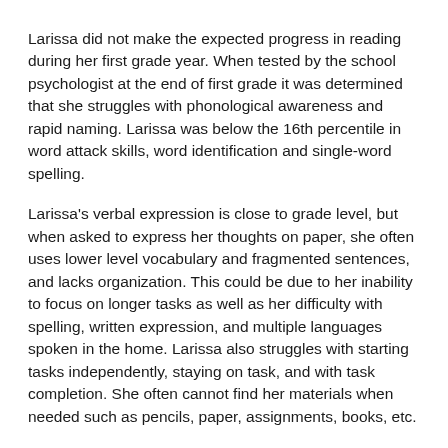Larissa did not make the expected progress in reading during her first grade year. When tested by the school psychologist at the end of first grade it was determined that she struggles with phonological awareness and rapid naming. Larissa was below the 16th percentile in word attack skills, word identification and single-word spelling.
Larissa's verbal expression is close to grade level, but when asked to express her thoughts on paper, she often uses lower level vocabulary and fragmented sentences, and lacks organization. This could be due to her inability to focus on longer tasks as well as her difficulty with spelling, written expression, and multiple languages spoken in the home. Larissa also struggles with starting tasks independently, staying on task, and with task completion. She often cannot find her materials when needed such as pencils, paper, assignments, books, etc.
She is originally from El Salvador and moved to the U.S. with her mother, father, older sister, and newborn brother when she was 14 months old. Recently, her mother and father separated. Her mom has since moved the children out of their home and in with family friends. The family friends have three children and two adults living in the